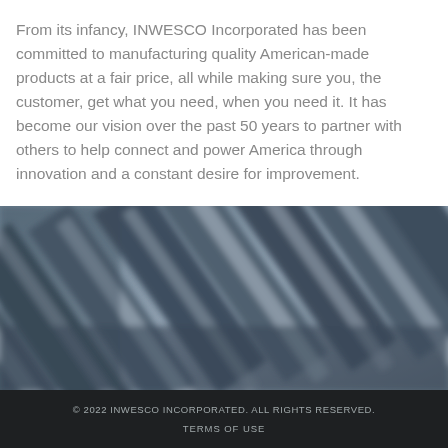From its infancy, INWESCO Incorporated has been committed to manufacturing quality American-made products at a fair price, all while making sure you, the customer, get what you need, when you need it. It has become our vision over the past 50 years to partner with others to help connect and power America through innovation and a constant desire for improvement.
[Figure (photo): Close-up blurred photo of industrial cables or wires arranged diagonally, with a blue-gray metallic tone]
© 2022 INWESCO INCORPORATED. ALL RIGHTS RESERVED.
TERMS OF USE